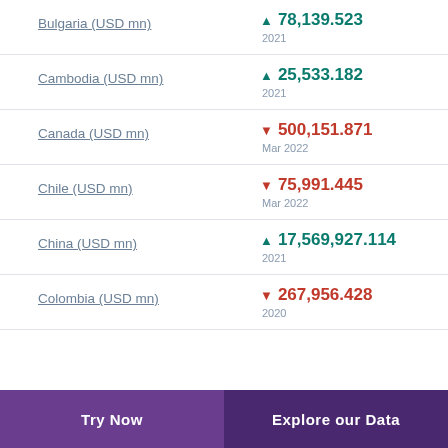Bulgaria (USD mn) ▲ 78,139.523 2021
Cambodia (USD mn) ▲ 25,533.182 2021
Canada (USD mn) ▼ 500,151.871 Mar 2022
Chile (USD mn) ▼ 75,991.445 Mar 2022
China (USD mn) ▲ 17,569,927.114 2021
Colombia (USD mn) ▼ 267,956.428 2020
Try Now  Explore our Data